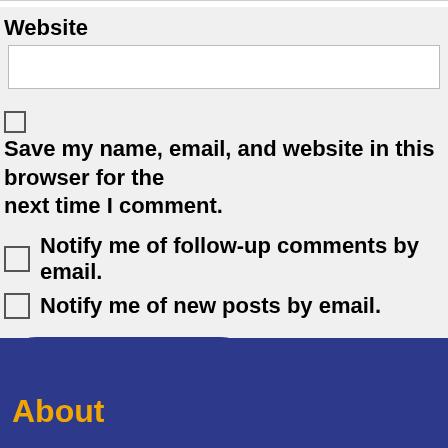Website
Save my name, email, and website in this browser for the next time I comment.
Notify me of follow-up comments by email.
Notify me of new posts by email.
Post Comment
About